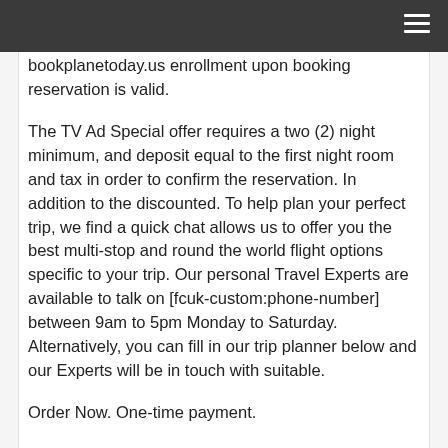[navigation bar with hamburger menu]
bookplanetoday.us enrollment upon booking reservation is valid.
The TV Ad Special offer requires a two (2) night minimum, and deposit equal to the first night room and tax in order to confirm the reservation. In addition to the discounted. To help plan your perfect trip, we find a quick chat allows us to offer you the best multi-stop and round the world flight options specific to your trip. Our personal Travel Experts are available to talk on [fcuk-custom:phone-number] between 9am to 5pm Monday to Saturday. Alternatively, you can fill in our trip planner below and our Experts will be in touch with suitable.
Order Now. One-time payment.